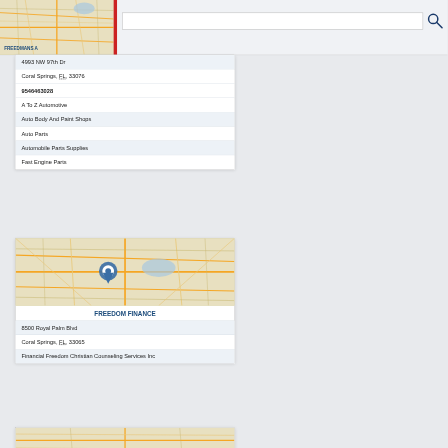[Figure (map): Street map showing top portion of a city area with orange roads on light background, partially visible]
FREEDMANS A
[Figure (screenshot): Search input box with magnifying glass icon]
4993 NW 97th Dr
Coral Springs, FL, 33076
9546463028
A To Z Automotive
Auto Body And Paint Shops
Auto Parts
Automobile Parts Supplies
Fast Engine Parts
[Figure (map): Street map of Coral Springs area with a blue location pin marker in center]
FREEDOM FINANCE
8500 Royal Palm Blvd
Coral Springs, FL, 33065
Financial Freedom Christian Counseling Services Inc
[Figure (map): Partial street map visible at bottom of page]